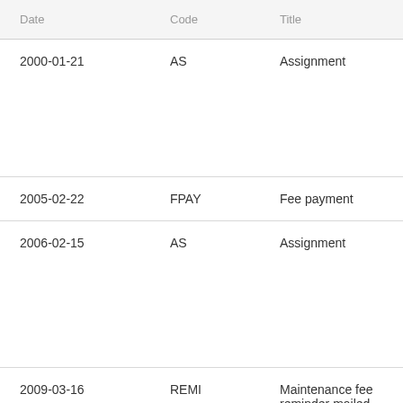| Date | Code | Title |
| --- | --- | --- |
| 2000-01-21 | AS | Assignment |
| 2005-02-22 | FPAY | Fee payment |
| 2006-02-15 | AS | Assignment |
| 2009-03-16 | REMI | Maintenance fee reminder mailed |